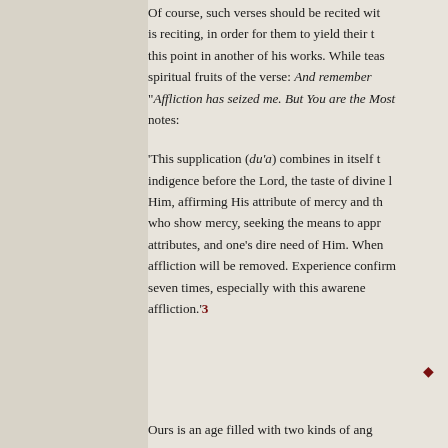Of course, such verses should be recited with understanding of what one is reciting, in order for them to yield their t[rue benefit]. He elaborates this point in another of his works. While teas[ing out the] spiritual fruits of the verse: And remember [the story of] Job: "Affliction has seized me. But You are the Most M[erciful]", he notes:
'This supplication (du'a) combines in itself t[he expression of] indigence before the Lord, the taste of divine l[ove], turning to Him, affirming His attribute of mercy and th[at He is the best of] who show mercy, seeking the means to appr[oach Him through His] attributes, and one's dire need of Him. Whe[n said seven times,] affliction will be removed. Experience confirm[s this: recite it] seven times, especially with this awarene[ss, and it] will [remove] affliction.'3
Ours is an age filled with two kinds of ang[uish]